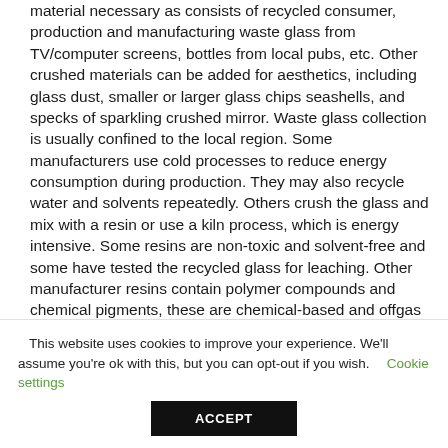material necessary as consists of recycled consumer, production and manufacturing waste glass from TV/computer screens, bottles from local pubs, etc. Other crushed materials can be added for aesthetics, including glass dust, smaller or larger glass chips seashells, and specks of sparkling crushed mirror. Waste glass collection is usually confined to the local region. Some manufacturers use cold processes to reduce energy consumption during production. They may also recycle water and solvents repeatedly. Others crush the glass and mix with a resin or use a kiln process, which is energy intensive. Some resins are non-toxic and solvent-free and some have tested the recycled glass for leaching. Other manufacturer resins contain polymer compounds and chemical pigments, these are chemical-based and offgas VOCs. Little waste as all projects cast to order. If you're
This website uses cookies to improve your experience. We'll assume you're ok with this, but you can opt-out if you wish. Cookie settings
ACCEPT